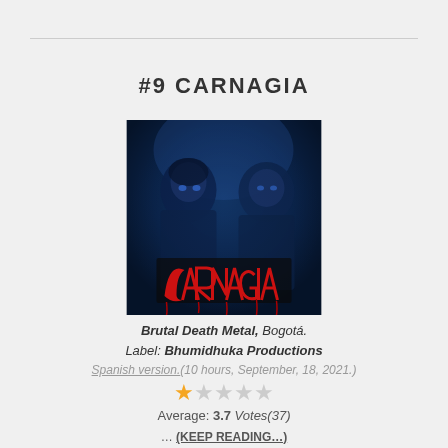#9 CARNAGIA
[Figure (photo): Band photo of Carnagia with blue-tinted dark background and red horror-style band logo at the bottom]
Brutal Death Metal, Bogotá.
Label: Bhumidhuka Productions
Spanish version.(10 hours, September, 18, 2021.)
★☆☆☆☆
Average: 3.7 Votes(37)
… (KEEP READING…)